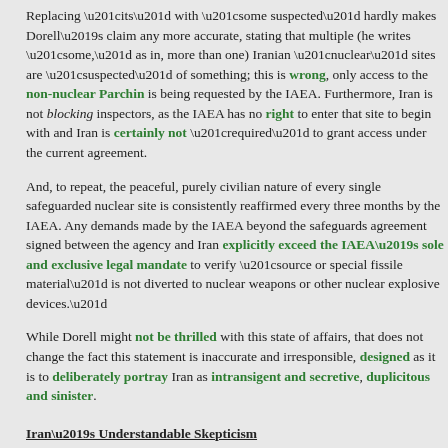Replacing “its” with “some suspected” hardly makes Dorell’s claim any more accurate, stating that multiple (he writes “some,” as in, more than one) Iranian “nuclear” sites are “suspected” of something; this is wrong, only access to the non-nuclear Parchin is being requested by the IAEA. Furthermore, Iran is not blocking inspectors, as the IAEA has no right to enter that site to begin with and Iran is certainly not “required” to grant access under the current agreement.
And, to repeat, the peaceful, purely civilian nature of every single safeguarded nuclear site is consistently reaffirmed every three months by the IAEA. Any demands made by the IAEA beyond the safeguards agreement signed between the agency and Iran explicitly exceed the IAEA’s sole and exclusive legal mandate to verify “source or special fissile material” is not diverted to nuclear weapons or other nuclear explosive devices.”
While Dorell might not be thrilled with this state of affairs, that does not change the fact this statement is inaccurate and irresponsible, designed as it is to deliberately portray Iran as intransigent and secretive, duplicitous and sinister.
Iran’s Understandable Skepticism
Furthermore, Iran has very compelling reasons to be wary of opening its non-safeguarded sites to international inspection and for insisting strict conditions are agreed upon in advance of any IAEA visit to Parchin. Iran is well aware it is arguably the world’s most spied upon